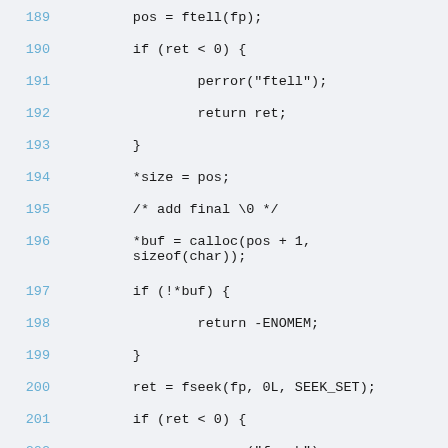189    pos = ftell(fp);
190    if (ret < 0) {
191        perror("ftell");
192        return ret;
193    }
194    *size = pos;
195    /* add final \0 */
196    *buf = calloc(pos + 1, sizeof(char));
197    if (!*buf) {
198        return -ENOMEM;
199    }
200    ret = fseek(fp, 0L, SEEK_SET);
201    if (ret < 0) {
202        perror("fseek");
203        goto error_free;